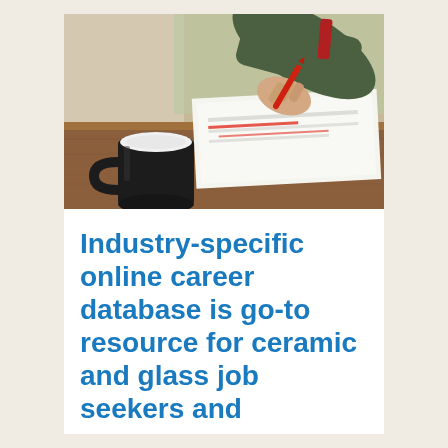[Figure (photo): A person's hand holding a red pen, writing on papers/forms on a wooden table, with a black coffee mug in the foreground.]
Industry-specific online career database is go-to resource for ceramic and glass job seekers and